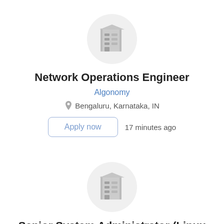[Figure (logo): Company building icon in a light gray circle]
Network Operations Engineer
Algonomy
Bengaluru, Karnataka, IN
Apply now   17 minutes ago
[Figure (logo): Company building icon in a light gray circle]
Senior System Administrator (Linux &amp; Solaris)